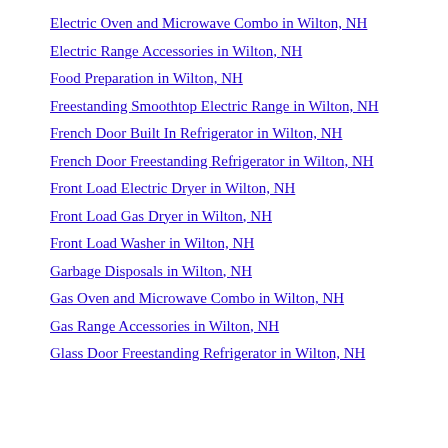Electric Oven and Microwave Combo in Wilton, NH
Electric Range Accessories in Wilton, NH
Food Preparation in Wilton, NH
Freestanding Smoothtop Electric Range in Wilton, NH
French Door Built In Refrigerator in Wilton, NH
French Door Freestanding Refrigerator in Wilton, NH
Front Load Electric Dryer in Wilton, NH
Front Load Gas Dryer in Wilton, NH
Front Load Washer in Wilton, NH
Garbage Disposals in Wilton, NH
Gas Oven and Microwave Combo in Wilton, NH
Gas Range Accessories in Wilton, NH
Glass Door Freestanding Refrigerator in Wilton, NH